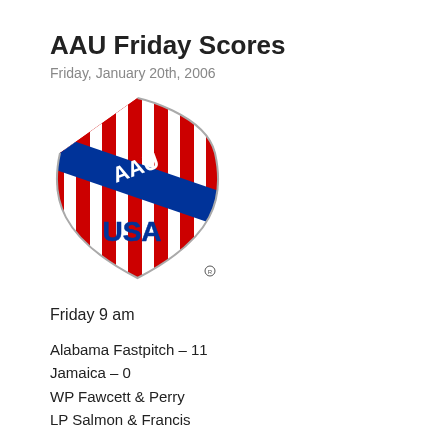AAU Friday Scores
Friday, January 20th, 2006
[Figure (logo): AAU USA shield logo with red and white stripes and blue banner]
Friday 9 am
Alabama Fastpitch – 11
Jamaica – 0
WP Fawcett & Perry
LP Salmon & Francis
Team USA – 8
Ambassadors – 0
WP – White & DeGroat
LP – Newton, Penn (4) & Abrey
Earl's Club – 2
Houston Aces – 5
WP – Valdez & Gilmour
LP – Johnson & Frodermann
Union Storm – 11